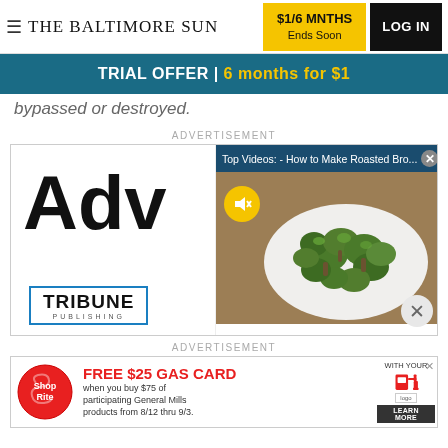THE BALTIMORE SUN | $1/6 MNTHS Ends Soon | LOG IN
TRIAL OFFER | 6 months for $1
bypassed or destroyed.
ADVERTISEMENT
[Figure (screenshot): Advertisement block showing large 'Adv' text and a video popup overlay titled 'Top Videos: - How to Make Roasted Bro...' with an X close button, showing a photo of roasted broccoli in a white bowl, a mute button icon, and Tribune Publishing logo below]
ADVERTISEMENT
[Figure (screenshot): ShopRite advertisement banner: FREE $25 GAS CARD when you buy $75 of participating General Mills products from 8/12 thru 9/3. WITH YOUR [logo]. LEARN MORE button. Close X button.]